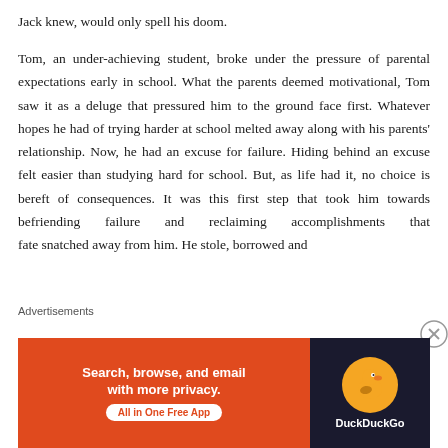Jack knew, would only spell his doom.
Tom, an under-achieving student, broke under the pressure of parental expectations early in school. What the parents deemed motivational, Tom saw it as a deluge that pressured him to the ground face first. Whatever hopes he had of trying harder at school melted away along with his parents’ relationship. Now, he had an excuse for failure. Hiding behind an excuse felt easier than studying hard for school. But, as life had it, no choice is bereft of consequences. It was this first step that took him towards befriending failure and reclaiming accomplishments that fate snatched away from him. He stole, borrowed and
Advertisements
[Figure (other): DuckDuckGo advertisement banner: orange left panel with text 'Search, browse, and email with more privacy.' and 'All in One Free App' button; dark right panel with DuckDuckGo duck logo and brand name.]